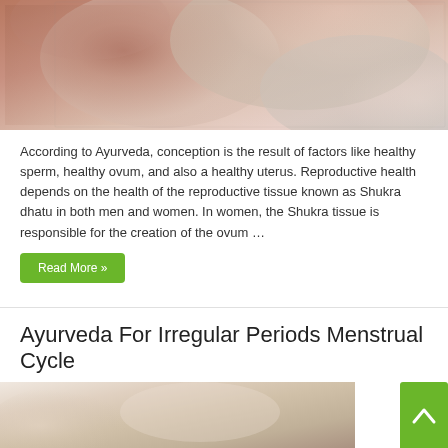[Figure (photo): A couple in an intimate, romantic moment — man and woman facing each other closely, lying in bed near a window, soft lighting]
According to Ayurveda, conception is the result of factors like healthy sperm, healthy ovum, and also a healthy uterus. Reproductive health depends on the health of the reproductive tissue known as Shukra dhatu in both men and women. In women, the Shukra tissue is responsible for the creation of the ovum …
Read More »
Ayurveda For Irregular Periods Menstrual Cycle
[Figure (photo): Close-up of a person's midsection/lower body area, soft pastel tones, partial view]